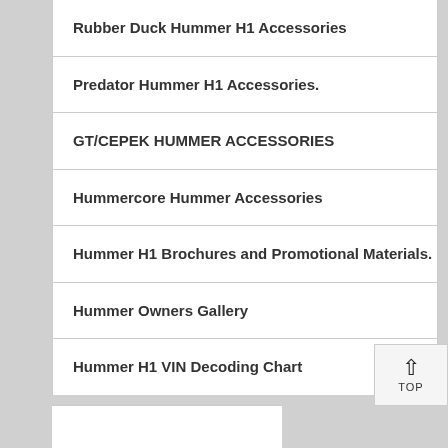Rubber Duck Hummer H1 Accessories
Predator Hummer H1 Accessories.
GT/CEPEK HUMMER ACCESSORIES
Hummercore Hummer Accessories
Hummer H1 Brochures and Promotional Materials.
Hummer Owners Gallery
Hummer H1 VIN Decoding Chart